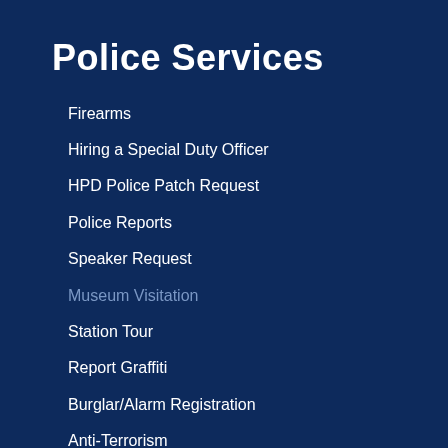Police Services
Firearms
Hiring a Special Duty Officer
HPD Police Patch Request
Police Reports
Speaker Request
Museum Visitation
Station Tour
Report Graffiti
Burglar/Alarm Registration
Anti-Terrorism
Online Reports
Bail Out Procedures